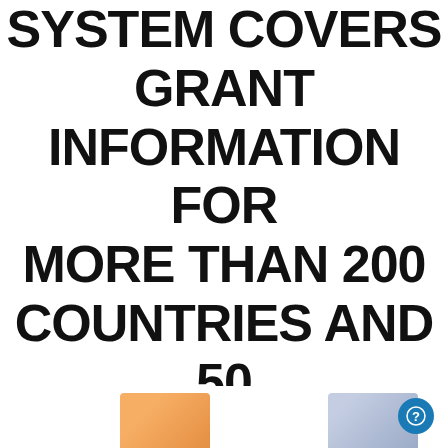SYSTEM COVERS GRANT INFORMATION FOR MORE THAN 200 COUNTRIES AND 50 THEMATIC AREAS OF INTEREST OR WORK
[Figure (illustration): Decorative images at the bottom: a small orange/warm-toned document/card image on the left and a blue/gray document image on the right, partially visible. A circular blue button with a question mark icon in the bottom-right corner.]